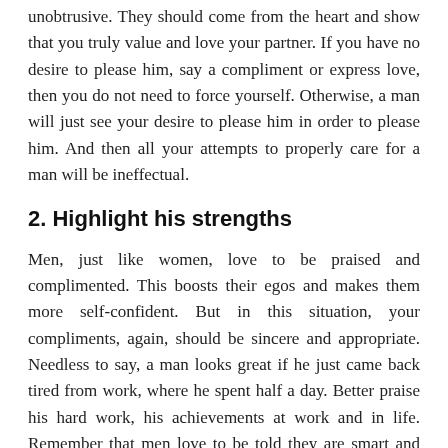unobtrusive. They should come from the heart and show that you truly value and love your partner. If you have no desire to please him, say a compliment or express love, then you do not need to force yourself. Otherwise, a man will just see your desire to please him in order to please him. And then all your attempts to properly care for a man will be ineffectual.
2. Highlight his strengths
Men, just like women, love to be praised and complimented. This boosts their egos and makes them more self-confident. But in this situation, your compliments, again, should be sincere and appropriate. Needless to say, a man looks great if he just came back tired from work, where he spent half a day. Better praise his hard work, his achievements at work and in life. Remember that men love to be told they are smart and creative. Therefore, if a man did or said something interesting, tell him: “how wise or reasonable you are with me.” Praise your man for every accomplishment, and as a result, he will love you even more.
3. Show your love and